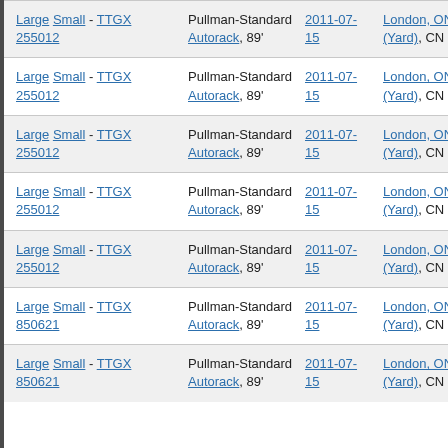|  | ID | Type | Date | Location |  |
| --- | --- | --- | --- | --- | --- |
| Large Small - TTGX 255012 | Pullman-Standard Autorack, 89' | 2011-07-15 | London, ON (Yard), CN | P |
| Large Small - TTGX 255012 | Pullman-Standard Autorack, 89' | 2011-07-15 | London, ON (Yard), CN | P |
| Large Small - TTGX 255012 | Pullman-Standard Autorack, 89' | 2011-07-15 | London, ON (Yard), CN | P |
| Large Small - TTGX 255012 | Pullman-Standard Autorack, 89' | 2011-07-15 | London, ON (Yard), CN | P |
| Large Small - TTGX 255012 | Pullman-Standard Autorack, 89' | 2011-07-15 | London, ON (Yard), CN | P |
| Large Small - TTGX 850621 | Pullman-Standard Autorack, 89' | 2011-07-15 | London, ON (Yard), CN | P |
| Large Small - TTGX 850621 | Pullman-Standard Autorack, 89' | 2011-07-15 | London, ON (Yard), CN | P |